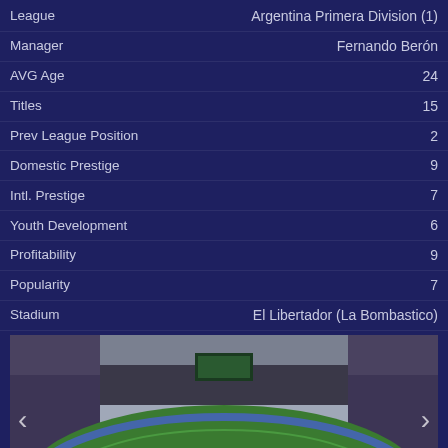| Field | Value |
| --- | --- |
| League | Argentina Primera Division (1) |
| Manager | Fernando Berón |
| AVG Age | 24 |
| Titles | 15 |
| Prev League Position | 2 |
| Domestic Prestige | 9 |
| Intl. Prestige | 7 |
| Youth Development | 6 |
| Profitability | 9 |
| Popularity | 7 |
| Stadium | El Libertador (La Bombastico) |
[Figure (photo): Stadium interior panoramic view of El Libertador (La Bombastico), showing green pitch, stands packed with crowd, blue running track, scoreboard in background, overcast sky.]